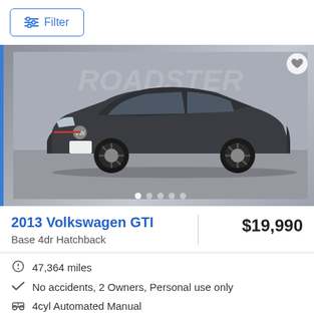[Figure (screenshot): Filter button with sliders icon in blue outline style]
[Figure (photo): Photo of a dark gray 2013 Volkswagen GTI hatchback on a neutral studio background, with blue side borders, a watermark, a heart icon in the top right, and image carousel dots at the bottom]
2013 Volkswagen GTI
Base 4dr Hatchback
$19,990
47,364 miles
No accidents, 2 Owners, Personal use only
4cyl Automated Manual
Carvana (In-stock online)